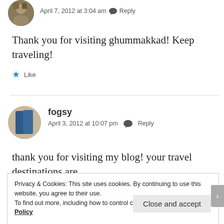[Figure (photo): Circular avatar photo of a person, cropped at top]
April 7, 2012 at 3:04 am   Reply
Thank you for visiting ghummakkad! Keep traveling!
★ Like
[Figure (photo): Circular avatar photo of fogsy commenter]
fogsy
April 3, 2012 at 10:07 pm   Reply
thank you for visiting my blog! your travel destinations are
Privacy & Cookies: This site uses cookies. By continuing to use this website, you agree to their use.
To find out more, including how to control cookies, see here: Cookie Policy
Close and accept